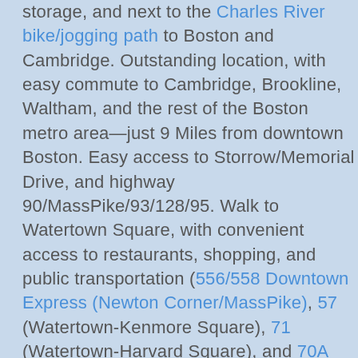storage, and next to the Charles River bike/jogging path to Boston and Cambridge. Outstanding location, with easy commute to Cambridge, Brookline, Waltham, and the rest of the Boston metro area—just 9 Miles from downtown Boston. Easy access to Storrow/Memorial Drive, and highway 90/MassPike/93/128/95. Walk to Watertown Square, with convenient access to restaurants, shopping, and public transportation (556/558 Downtown Express (Newton Corner/MassPike), 57 (Watertown-Kenmore Square), 71 (Watertown-Harvard Square), and 70A (North Waltham-Central Square). Across the street from Russo's Produce and Specialty Food and Stop and Shop Supermarket, with a high Walk Score